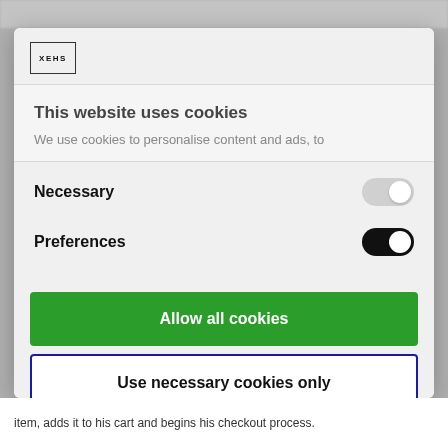[Figure (logo): XEHS logo in a small bordered rectangle]
This website uses cookies
We use cookies to personalise content and ads, to
Necessary
Preferences
Allow all cookies
Use necessary cookies only
Powered by Cookiebot by Usercentrics
item, adds it to his cart and begins his checkout process.